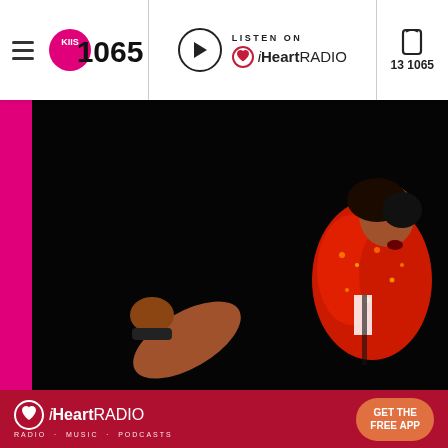[Figure (screenshot): KIIS 1065 radio website header with hamburger menu, KIIS 1065 logo, Listen on iHeartRadio player button, and phone number 13 1065]
[Figure (photo): Performer in red sequined jacket with fist raised against dark background, performing on stage]
[Figure (screenshot): iHeartRadio advertisement banner with logo, Radio Music Podcasts tagline, and Get The Free App button]